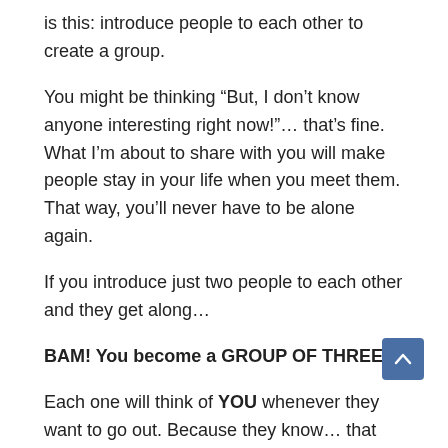is this: introduce people to each other to create a group.
You might be thinking “But, I don’t know anyone interesting right now!”… that’s fine. What I’m about to share with you will make people stay in your life when you meet them. That way, you’ll never have to be alone again.
If you introduce just two people to each other and they get along…
BAM! You become a GROUP OF THREE!
Each one will think of YOU whenever they want to go out. Because they know… that the fun is almost guaranteed, because you’re a group now. And groups are almost always more fun.
If you want to take it to the next level, and make them stick